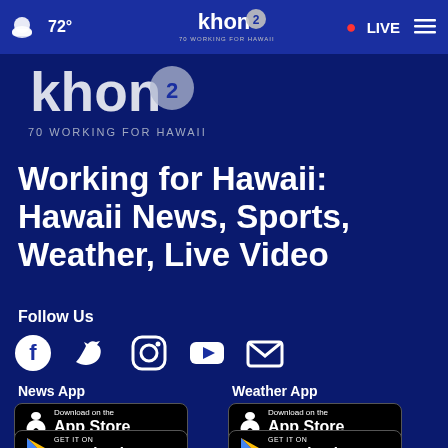72° | khon2 WORKING FOR HAWAII | LIVE
[Figure (logo): KHON2 Working for Hawaii logo - large version below nav bar]
Working for Hawaii: Hawaii News, Sports, Weather, Live Video
Follow Us
[Figure (infographic): Social media icons: Facebook, Twitter, Instagram, YouTube, Email]
News App
Weather App
[Figure (other): Download on the App Store button for News App]
[Figure (other): GET IT ON Google Play button for News App]
[Figure (other): Download on the App Store button for Weather App]
[Figure (other): GET IT ON Google Play button for Weather App]